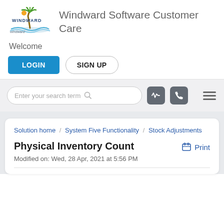[Figure (logo): Windward Software logo with palm tree icon and 'WINDWARD software' text]
Windward Software Customer Care
Welcome
LOGIN   SIGN UP
[Figure (screenshot): Search bar with placeholder 'Enter your search term', search icon, two icon buttons (activity and phone), and hamburger menu icon]
Solution home / System Five Functionality / Stock Adjustments
Physical Inventory Count
Modified on: Wed, 28 Apr, 2021 at 5:56 PM